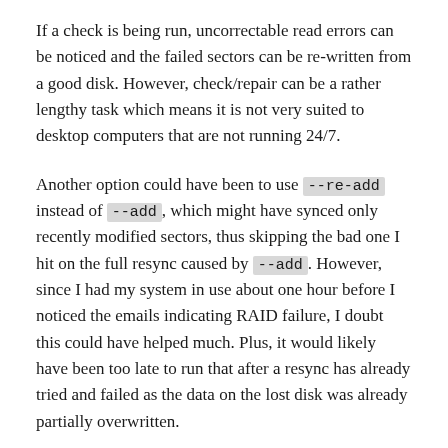If a check is being run, uncorrectable read errors can be noticed and the failed sectors can be re-written from a good disk. However, check/repair can be a rather lengthy task which means it is not very suited to desktop computers that are not running 24/7.
Another option could have been to use --re-add instead of --add, which might have synced only recently modified sectors, thus skipping the bad one I hit on the full resync caused by --add. However, since I had my system in use about one hour before I noticed the emails indicating RAID failure, I doubt this could have helped much. Plus, it would likely have been too late to run that after a resync has already tried and failed as the data on the lost disk was already partially overwritten.